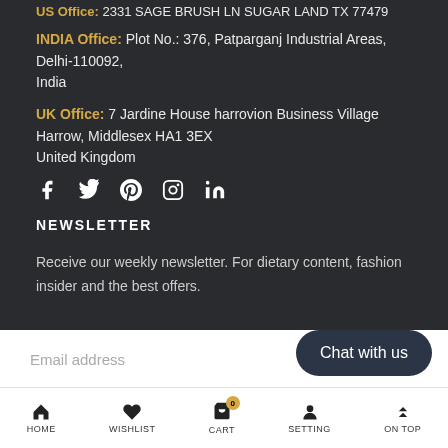US Office: 2331 SAGE BRUSH LN SUGAR LAND TX 77479
INDIA Office: Plot No.: 376, Patparganj Industrial Areas, Delhi-110092, India
UK Office: 7 Jardine House harrovion Business Village Harrow, Middlesex HA1 3EX United Kingdom
[Figure (infographic): Social media icons: Facebook, Twitter, Pinterest, Instagram, LinkedIn]
NEWSLETTER
Receive our weekly newsletter. For dietary content, fashion insider and the best offers.
Email address
Chat with us
HOME | WISHLIST | CART (0) | SETTING | ON TOP